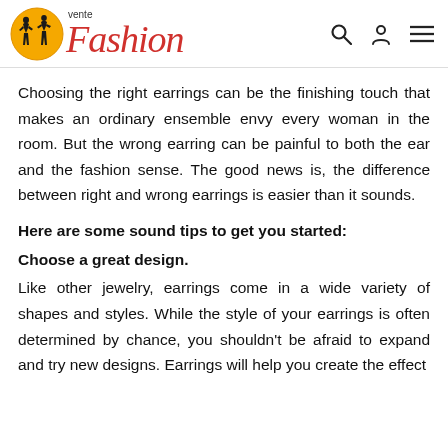vente Fashion
Choosing the right earrings can be the finishing touch that makes an ordinary ensemble envy every woman in the room. But the wrong earring can be painful to both the ear and the fashion sense. The good news is, the difference between right and wrong earrings is easier than it sounds.
Here are some sound tips to get you started:
Choose a great design.
Like other jewelry, earrings come in a wide variety of shapes and styles. While the style of your earrings is often determined by chance, you shouldn't be afraid to expand and try new designs. Earrings will help you create the effect